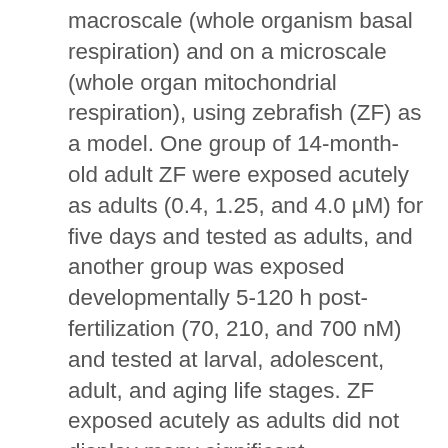macroscale (whole organism basal respiration) and on a microscale (whole organ mitochondrial respiration), using zebrafish (ZF) as a model. One group of 14-month-old adult ZF were exposed acutely as adults (0.4, 1.25, and 4.0 μM) for five days and tested as adults, and another group was exposed developmentally 5-120 h post-fertilization (70, 210, and 700 nM) and tested at larval, adolescent, adult, and aging life stages. ZF exposed acutely as adults did not display many significant neurobehavioral impacts or mitochondrial dysfunction. Conversely, the embryonically exposed ZF showed altered behavioral functions at each stage of life which emerged and attenuated as fish transitioned from each